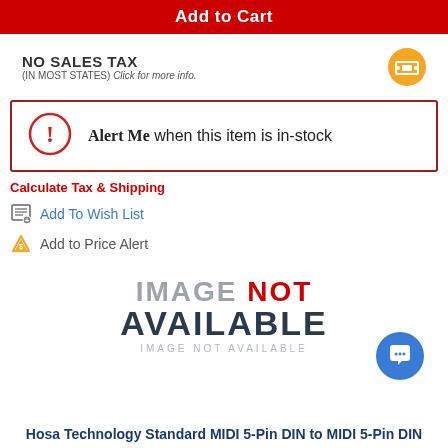Add to Cart
NO SALES TAX (IN MOST STATES) Click for more info.
Alert Me when this item is in-stock
Calculate Tax & Shipping
Add To Wish List
Add to Price Alert
[Figure (illustration): IMAGE NOT AVAILABLE placeholder graphic]
Hosa Technology Standard MIDI 5-Pin DIN to MIDI 5-Pin DIN